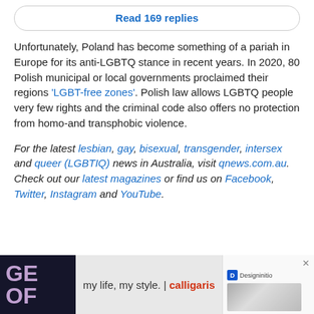Read 169 replies
Unfortunately, Poland has become something of a pariah in Europe for its anti-LGBTQ stance in recent years. In 2020, 80 Polish municipal or local governments proclaimed their regions 'LGBT-free zones'. Polish law allows LGBTQ people very few rights and the criminal code also offers no protection from homo-and transphobic violence.
For the latest lesbian, gay, bisexual, transgender, intersex and queer (LGBTIQ) news in Australia, visit qnews.com.au. Check out our latest magazines or find us on Facebook, Twitter, Instagram and YouTube.
[Figure (screenshot): Advertisement banner at bottom: dark background on left with large purple letters 'GE OF', center shows light gray area with text 'my life, my style. | calligaris' with red brand name, right side shows white panel with close X button and Designinitio logo with partial product image]